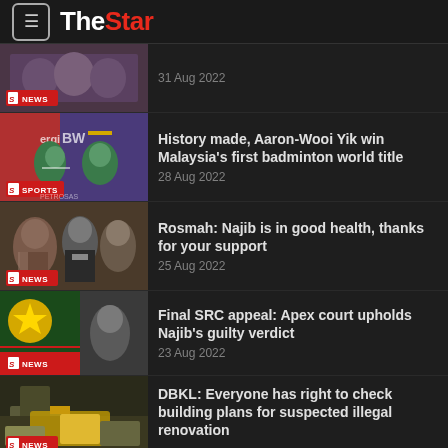The Star
[Figure (photo): Crowd scene photo with NEWS badge, partially visible]
31 Aug 2022
[Figure (photo): Two badminton players wearing masks with SPORTS badge]
History made, Aaron-Wooi Yik win Malaysia's first badminton world title
28 Aug 2022
[Figure (photo): Rosmah and others with NEWS badge]
Rosmah: Najib is in good health, thanks for your support
25 Aug 2022
[Figure (photo): Malaysian flag and person with NEWS badge]
Final SRC appeal: Apex court upholds Najib's guilty verdict
23 Aug 2022
[Figure (photo): Construction debris scene with NEWS badge]
DBKL: Everyone has right to check building plans for suspected illegal renovation